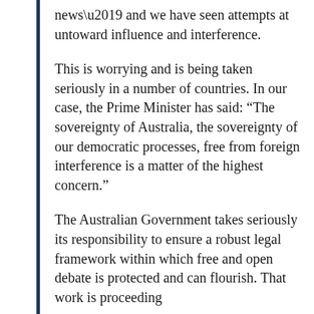news’ and we have seen attempts at untoward influence and interference.
This is worrying and is being taken seriously in a number of countries. In our case, the Prime Minister has said: “The sovereignty of Australia, the sovereignty of our democratic processes, free from foreign interference is a matter of the highest concern.”
The Australian Government takes seriously its responsibility to ensure a robust legal framework within which free and open debate is protected and can flourish. That work is proceeding